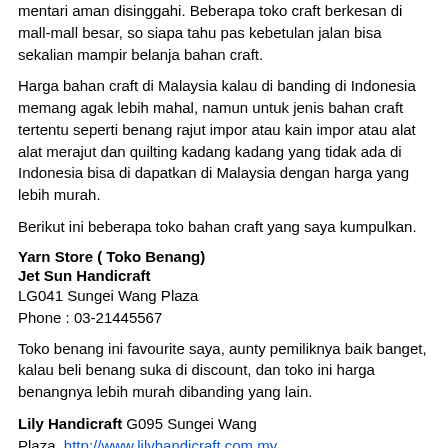mentari aman disinggahi. Beberapa toko craft berkesan di mall-mall besar, so siapa tahu pas kebetulan jalan bisa sekalian mampir belanja bahan craft.
Harga bahan craft di Malaysia kalau di banding di Indonesia memang agak lebih mahal, namun untuk jenis bahan craft tertentu seperti benang rajut impor atau kain impor atau alat alat merajut dan quilting kadang kadang yang tidak ada di Indonesia bisa di dapatkan di Malaysia dengan harga yang lebih murah.
Berikut ini beberapa toko bahan craft yang saya kumpulkan.
Yarn Store ( Toko Benang)
Jet Sun Handicraft
LG041 Sungei Wang Plaza
Phone : 03-21445567
Toko benang ini favourite saya, aunty pemiliknya baik banget, kalau beli benang suka di discount, dan toko ini harga benangnya lebih murah dibanding yang lain.
Lily Handicraft G095 Sungei Wang Plaza  http://www.lilyhandicraft.com.my